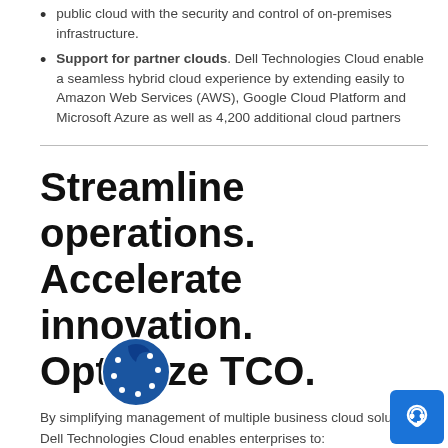public cloud with the security and control of on-premises infrastructure.
Support for partner clouds. Dell Technologies Cloud enable a seamless hybrid cloud experience by extending easily to Amazon Web Services (AWS), Google Cloud Platform and Microsoft Azure as well as 4,200 additional cloud partners
Streamline operations. Accelerate innovation. Optimize TCO.
By simplifying management of multiple business cloud solutions, Dell Technologies Cloud enables enterprises to:
Streamline operations. Use a common set of tools and